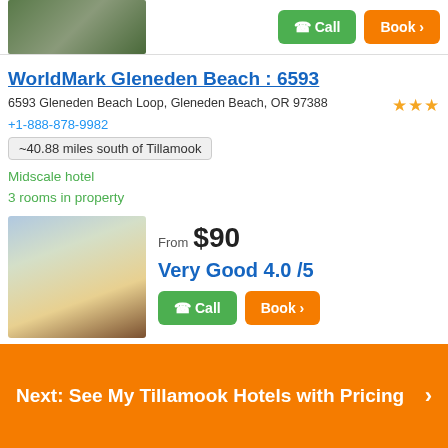[Figure (photo): Hotel exterior thumbnail at top of page]
WorldMark Gleneden Beach : 6593
6593 Gleneden Beach Loop, Gleneden Beach, OR 97388
+1-888-878-9982
~40.88 miles south of Tillamook
Midscale hotel
3 rooms in property
[Figure (photo): WorldMark Gleneden Beach hotel exterior at dusk]
From $90
Very Good 4.0 /5
Next: See My Tillamook Hotels with Pricing